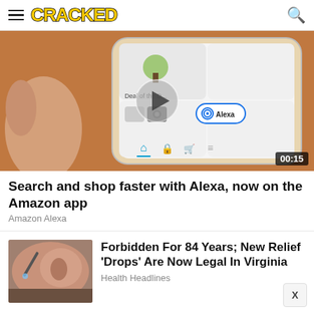CRACKED
[Figure (screenshot): Video thumbnail showing a hand holding a smartphone with the Amazon app open, displaying the Alexa button and Deal of the Day section. A play button overlaid in the center.]
Search and shop faster with Alexa, now on the Amazon app
Amazon Alexa
[Figure (photo): Close-up photo of a person's ear with what appears to be ear drops being applied.]
Forbidden For 84 Years; New Relief 'Drops' Are Now Legal In Virginia
Health Headlines